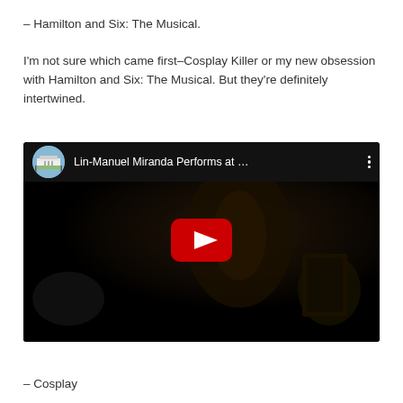– Hamilton and Six: The Musical.
I'm not sure which came first–Cosplay Killer or my new obsession with Hamilton and Six: The Musical. But they're definitely intertwined.
[Figure (screenshot): YouTube video embed showing 'Lin-Manuel Miranda Performs at ...' with a dark scene thumbnail and red play button, White House thumbnail image for channel icon]
– Cosplay